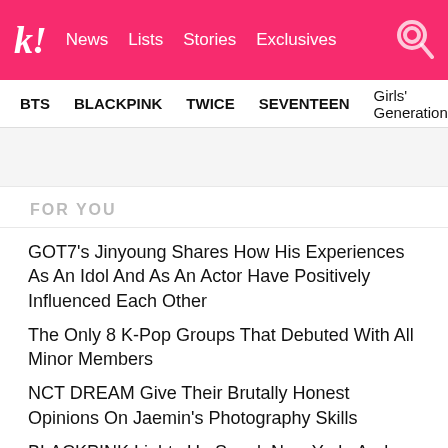kl! News Lists Stories Exclusives
BTS BLACKPINK TWICE SEVENTEEN Girls' Generation
FOR YOU
GOT7's Jinyoung Shares How His Experiences As An Idol And As An Actor Have Positively Influenced Each Other
The Only 8 K-Pop Groups That Debuted With All Minor Members
NCT DREAM Give Their Brutally Honest Opinions On Jaemin's Photography Skills
BLACKPINK Lights Up Seoul, New York, And Los Angeles In Pink Ahead Of Their "Pink Venom" Release
SEVENTEEN Wonwoo's Cover Of IU's "Knees" Is A Heartfelt Ode To His Mother